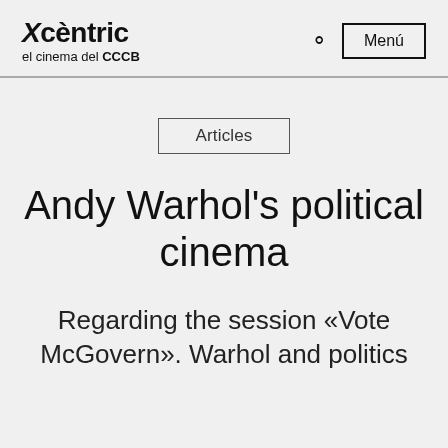Xcèntric el cinema del CCCB
Articles
Andy Warhol's political cinema
Regarding the session «Vote McGovern». Warhol and politics